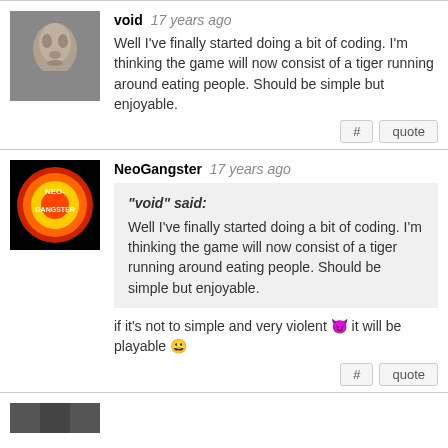[Figure (photo): Avatar image of a 3D rendered gray humanoid face]
void 17 years ago
Well I've finally started doing a bit of coding. I'm thinking the game will now consist of a tiger running around eating people. Should be simple but enjoyable.
[Figure (photo): Avatar image with NeoGangster logo - red/yellow flame globe on black background]
NeoGangster 17 years ago
"void" said:
Well I've finally started doing a bit of coding. I'm thinking the game will now consist of a tiger running around eating people. Should be simple but enjoyable.
if it's not to simple and very violent 😈 it will be playable 😀
[Figure (photo): Partial avatar at bottom, dark colored]